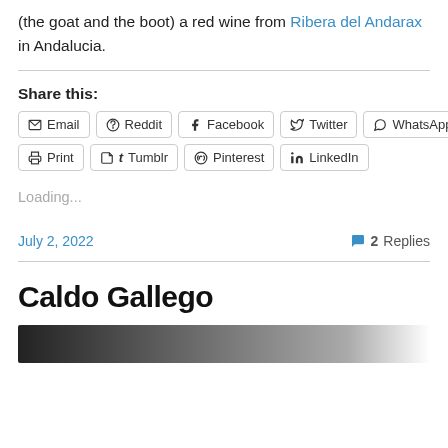(the goat and the boot) a red wine from Ribera del Andarax in Andalucia.
Share this:
Email | Reddit | Facebook | Twitter | WhatsApp | Print | Tumblr | Pinterest | LinkedIn
Loading...
July 2, 2022
2 Replies
Caldo Gallego